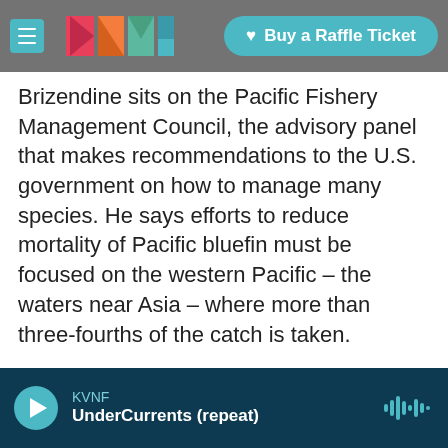KVNF logo navigation bar with hamburger menu and Buy a Raffle Ticket button
Brizendine sits on the Pacific Fishery Management Council, the advisory panel that makes recommendations to the U.S. government on how to manage many species. He says efforts to reduce mortality of Pacific bluefin must be focused on the western Pacific – the waters near Asia – where more than three-fourths of the catch is taken.
Some depleted but commercially valued fishes, like several strains of Chinook salmon and a handful of rockfish species, have been afforded strict protections by the federal government. Kilduff
KVNF UnderCurrents (repeat)